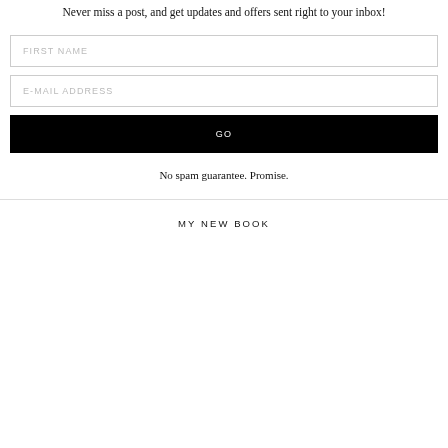Never miss a post, and get updates and offers sent right to your inbox!
[Figure (other): FIRST NAME input field placeholder]
[Figure (other): E-MAIL ADDRESS input field placeholder]
[Figure (other): GO button, black background, white text]
No spam guarantee. Promise.
MY NEW BOOK